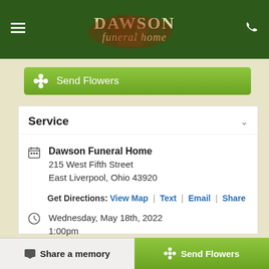[Figure (logo): Dawson Funeral Home logo with leaf/oak decoration on dark green background]
Send Flowers
Service
Dawson Funeral Home
215 West Fifth Street
East Liverpool, Ohio 43920
Get Directions: View Map | Text | Email | Share
Wednesday, May 18th, 2022
1:00pm
Share a memory
Send Flowers